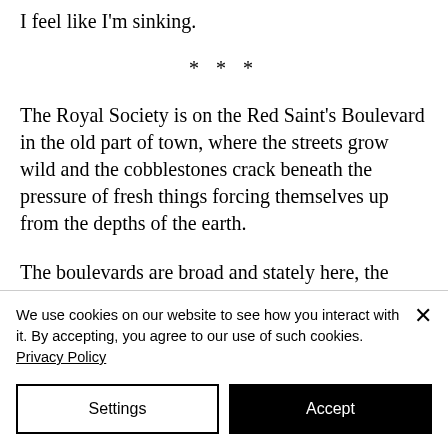I feel like I'm sinking.
* * *
The Royal Society is on the Red Saint's Boulevard in the old part of town, where the streets grow wild and the cobblestones crack beneath the pressure of fresh things forcing themselves up from the depths of the earth.
The boulevards are broad and stately here, the kind of place where you could imagine carriages once rollicking back and forth. Wagons laden with vegetables
We use cookies on our website to see how you interact with it. By accepting, you agree to our use of such cookies. Privacy Policy
Settings
Accept